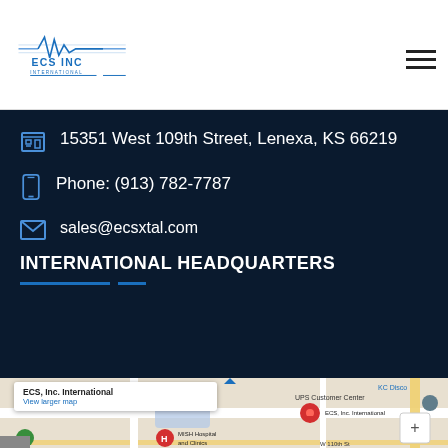[Figure (logo): ECS Inc International logo with waveform graphic in blue]
15351 West 109th Street, Lenexa, KS 66219
Phone: (913) 782-7787
sales@ecsxtal.com
INTERNATIONAL HEADQUARTERS
[Figure (map): Google Maps screenshot showing location of ECS, Inc. International near MISH Hospital and Clinics, with a map popup showing ECS, Inc. International and View larger map link]